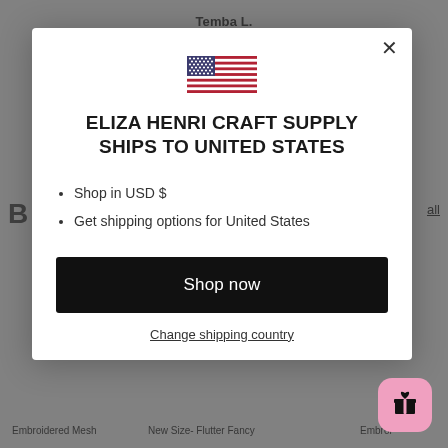Temba L.
B
all
[Figure (illustration): US flag emoji/illustration inside a modal dialog box]
ELIZA HENRI CRAFT SUPPLY SHIPS TO UNITED STATES
Shop in USD $
Get shipping options for United States
Shop now
Change shipping country
Embroidered Mesh
New Size- Flutter Fancy
Embroi